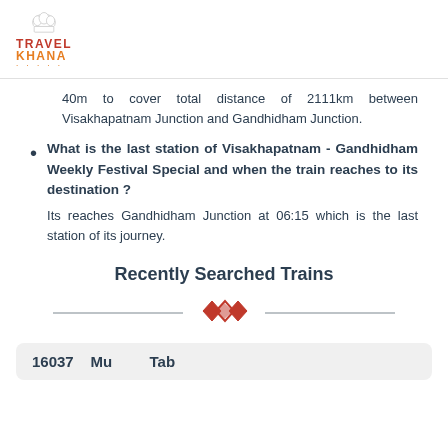[Figure (logo): TravelKhana logo with chef hat icon, red TRAVEL text and orange KHANA text]
40m to cover total distance of 2111km between Visakhapatnam Junction and Gandhidham Junction.
What is the last station of Visakhapatnam - Gandhidham Weekly Festival Special and when the train reaches to its destination ? Its reaches Gandhidham Junction at 06:15 which is the last station of its journey.
Recently Searched Trains
[Figure (illustration): Decorative diamond/rhombus ornament divider in red/orange]
16037 ...